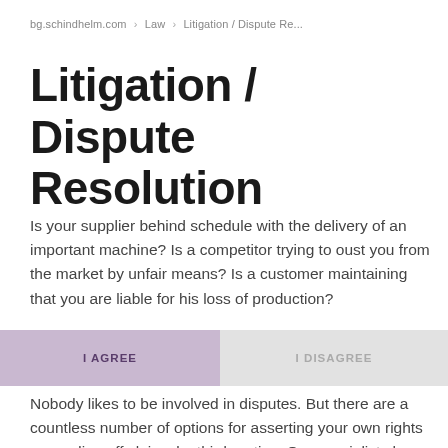bg.schindhelm.com  >  Law  >  Litigation / Dispute Re...
Litigation / Dispute Resolution
Is your supplier behind schedule with the delivery of an important machine? Is a competitor trying to oust you from the market by unfair means? Is a customer maintaining that you are liable for his loss of production?
Nobody likes to be involved in disputes. But there are a countless number of options for asserting your own rights or warding off claims by third parties. Our specialists have many years of experience and superb expertise in defending and enforcement of all disputed claims. Consequently, we know what is